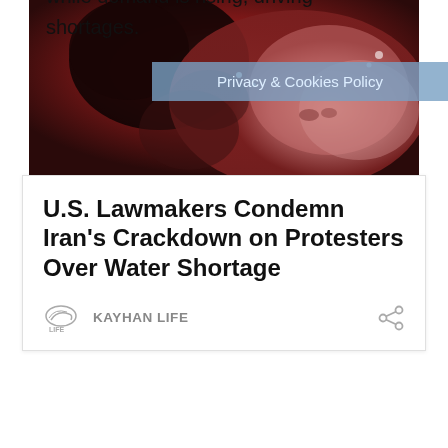[Figure (photo): Close-up photo of a person's face with reddish tones, appearing distressed or sweaty]
U.S. Lawmakers Condemn Iran's Crackdown on Protesters Over Water Shortage
KAYHAN LIFE
Ali Mirchi, an assistant professor in Oklahoma State University's Department of Biosystems and Agricultural Engineering, said Iran's water supply is dwindling because of climate change and poor policymaking, while demand is rising, driving shortages.
Privacy & Cookies Policy